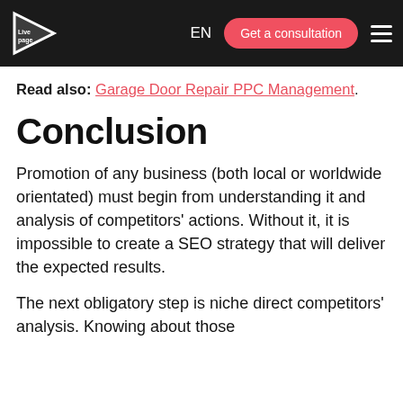EN | Get a consultation
Read also: Garage Door Repair PPC Management.
Conclusion
Promotion of any business (both local or worldwide orientated) must begin from understanding it and analysis of competitors’ actions. Without it, it is impossible to create a SEO strategy that will deliver the expected results.
The next obligatory step is niche direct competitors’ analysis. Knowing about those